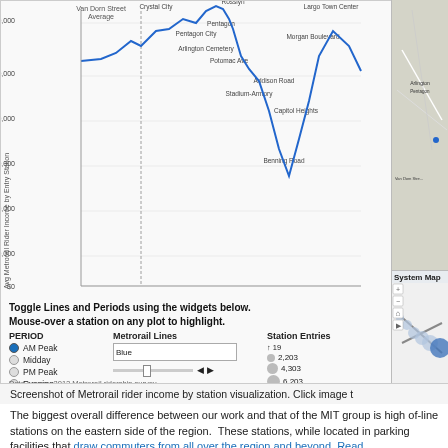[Figure (screenshot): Screenshot of a Tableau or web-based visualization showing Avg Metrorail Rider Income by Entry Station as a line chart. Y-axis shows values from $0 to $100,000+. Stations labeled include Van Dorn Street, Crystal City, Pentagon City, Pentagon, Arlington Cemetery, Potomac Ave, Stadium-Armory, Addison Road, Capitol Heights, Benning Road, Largo Town Center, Morgan Boulevard, and others. A blue line chart shows the trend. Controls below include PERIOD radio buttons (AM Peak selected, Midday, PM Peak, Evening), Metrorail Lines dropdown (Blue selected), and Station Entries bubble legend (19, 2,203, 4,303, 6,203, 8,203, 9,843). Avg Income color bar shown ($54,000 to $152,000). Right side shows a map thumbnail and System Map. Data source: 2012 Metrorail ridership survey.]
Screenshot of Metrorail rider income by station visualization. Click image t
The biggest overall difference between our work and that of the MIT group is high of-line stations on the eastern side of the region. These stations, while located in parking facilities that draw commuters from all over the region and beyond. Read